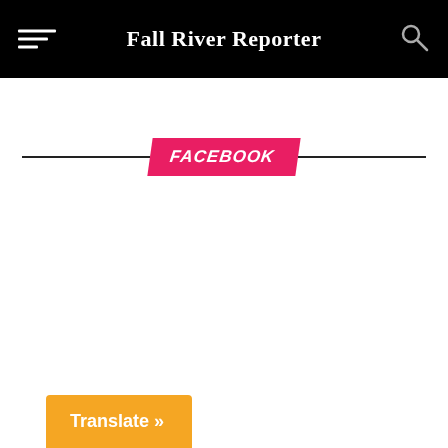Fall River Reporter
FACEBOOK
Translate »